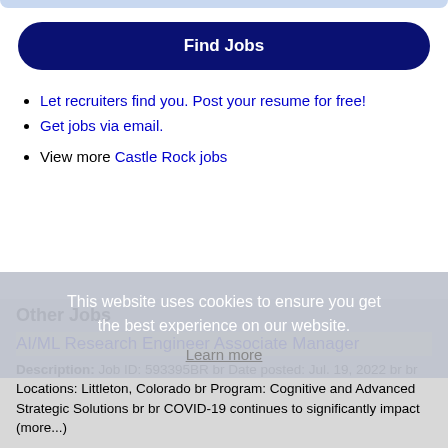[Figure (other): Top decorative bar / partial UI element at top of page]
Find Jobs
Let recruiters find you. Post your resume for free!
Get jobs via email.
View more Castle Rock jobs
This website uses cookies to ensure you get the best experience on our website. Learn more
Other Jobs
AI/ML Research Engineer Associate Manager
Description: Job ID: 593395BR br Date posted: Jul. 19, 2022 br br Locations: Littleton, Colorado br Program: Cognitive and Advanced Strategic Solutions br br COVID-19 continues to significantly impact (more...)